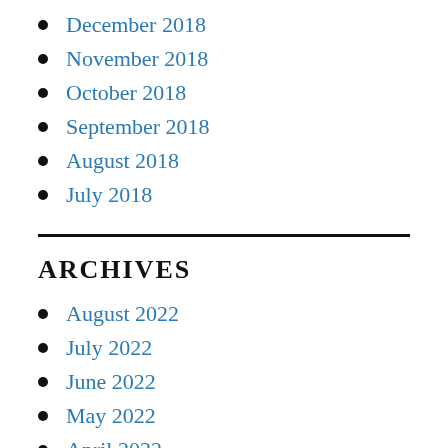December 2018
November 2018
October 2018
September 2018
August 2018
July 2018
ARCHIVES
August 2022
July 2022
June 2022
May 2022
April 2022